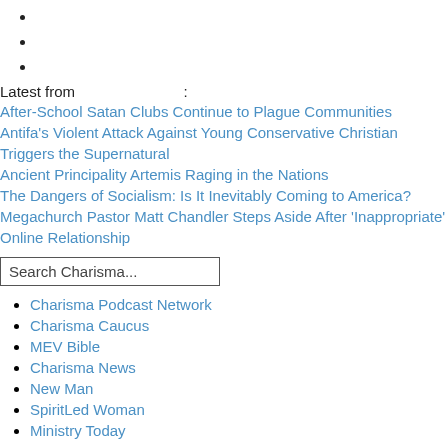Latest from :
After-School Satan Clubs Continue to Plague Communities
Antifa's Violent Attack Against Young Conservative Christian Triggers the Supernatural
Ancient Principality Artemis Raging in the Nations
The Dangers of Socialism: Is It Inevitably Coming to America?
Megachurch Pastor Matt Chandler Steps Aside After 'Inappropriate' Online Relationship
Search Charisma...
Charisma Podcast Network
Charisma Caucus
MEV Bible
Charisma News
New Man
SpiritLed Woman
Ministry Today
⇑ back to "Life"